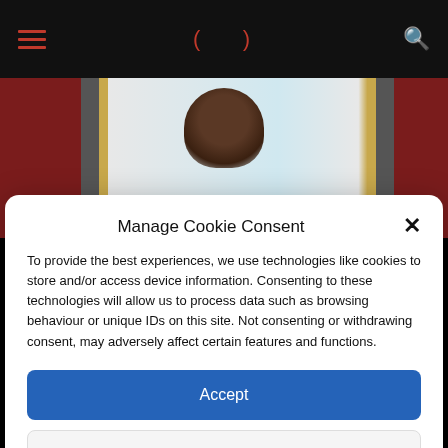Navigation bar with hamburger menu, logo, and search icon
[Figure (photo): Background website image showing a person, partially visible behind the cookie consent modal]
Manage Cookie Consent
To provide the best experiences, we use technologies like cookies to store and/or access device information. Consenting to these technologies will allow us to process data such as browsing behaviour or unique IDs on this site. Not consenting or withdrawing consent, may adversely affect certain features and functions.
Accept
Deny
View preferences